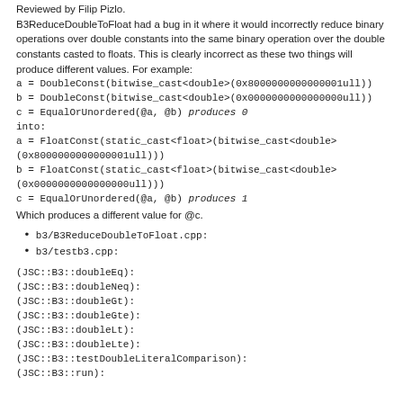Reviewed by Filip Pizlo.
B3ReduceDoubleToFloat had a bug in it where it would incorrectly reduce binary operations over double constants into the same binary operation over the double constants casted to floats. This is clearly incorrect as these two things will produce different values. For example:
a = DoubleConst(bitwise_cast<double>(0x8000000000000001ull))
b = DoubleConst(bitwise_cast<double>(0x0000000000000000ull))
c = EqualOrUnordered(@a, @b) produces 0
into:
a = FloatConst(static_cast<float>(bitwise_cast<double>(0x8000000000000001ull)))
b = FloatConst(static_cast<float>(bitwise_cast<double>(0x0000000000000000ull)))
c = EqualOrUnordered(@a, @b) produces 1
Which produces a different value for @c.
b3/B3ReduceDoubleToFloat.cpp:
b3/testb3.cpp:
(JSC::B3::doubleEq):
(JSC::B3::doubleNeq):
(JSC::B3::doubleGt):
(JSC::B3::doubleGte):
(JSC::B3::doubleLt):
(JSC::B3::doubleLte):
(JSC::B3::testDoubleLiteralComparison):
(JSC::B3::run):